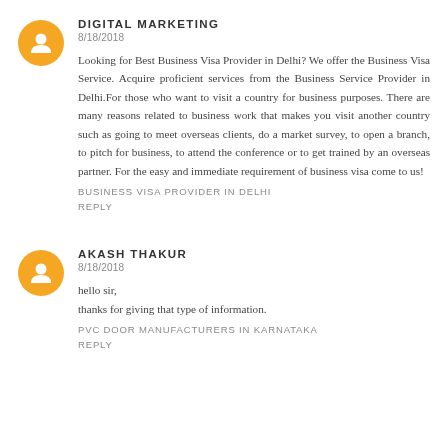DIGITAL MARKETING
8/18/2018
Looking for Best Business Visa Provider in Delhi? We offer the Business Visa Service. Acquire proficient services from the Business Service Provider in Delhi.For those who want to visit a country for business purposes. There are many reasons related to business work that makes you visit another country such as going to meet overseas clients, do a market survey, to open a branch, to pitch for business, to attend the conference or to get trained by an overseas partner. For the easy and immediate requirement of business visa come to us!
BUSINESS VISA PROVIDER IN DELHI
REPLY
AKASH THAKUR
8/18/2018
hello sir,
thanks for giving that type of information.
PVC DOOR MANUFACTURERS IN KARNATAKA
REPLY